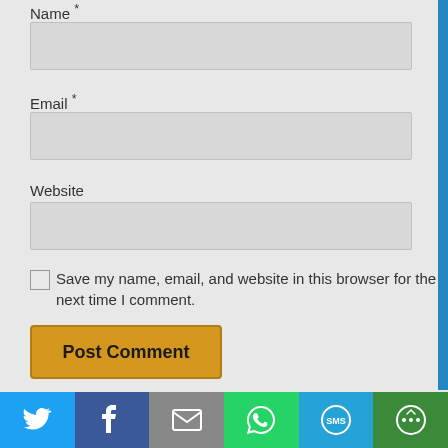Name *
Email *
Website
Save my name, email, and website in this browser for the next time I comment.
Post Comment
Yes, add me to your mailing list.
This site uses Akismet to reduce spam. Learn how your
[Figure (other): Social share bar with Twitter, Facebook, Email, WhatsApp, SMS, and More icons]